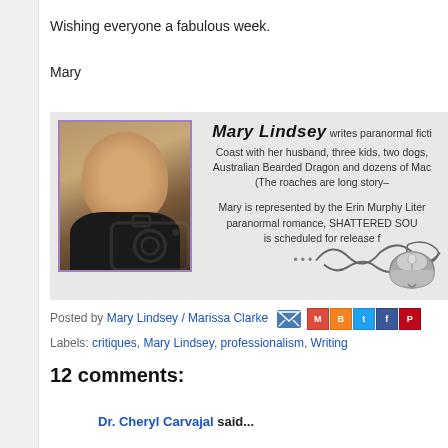Wishing everyone a fabulous week.
Mary
[Figure (photo): Author bio card for Mary Lindsey showing a photo of a young woman with long brown hair, text describing her as a paranormal fiction writer living on the Gulf Coast with her husband, three kids, two dogs, an Australian Bearded Dragon and dozens of Madagascan Hissing Cockroaches. She is represented by the Erin Murphy Literary Agency. Her paranormal romance SHATTERED SOULS is scheduled for release. Decorative scroll and computer mouse in the bottom right corner.]
Posted by Mary Lindsey / Marissa Clarke
Labels: critiques, Mary Lindsey, professionalism, Writing
12 comments:
Dr. Cheryl Carvajal said...